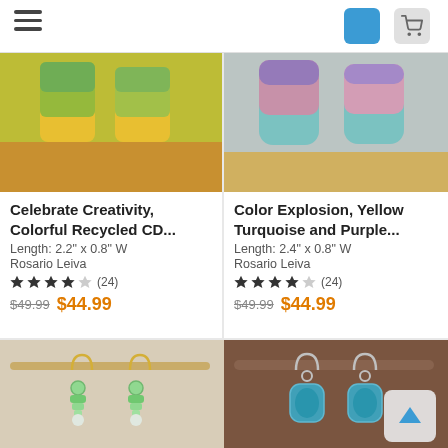Navigation bar with hamburger menu, blue icon, and cart icon
[Figure (photo): Colorful recycled CD earrings with yellow and green hues hanging against beige background]
Celebrate Creativity, Colorful Recycled CD...
Length: 2.2" x 0.8" W
Rosario Leiva
★★★★☆ (24)
$49.99  $44.99
[Figure (photo): Color explosion yellow turquoise and purple earrings with colorful mosaic pattern against beige background]
Color Explosion, Yellow Turquoise and Purple...
Length: 2.4" x 0.8" W
Rosario Leiva
★★★★☆ (24)
$49.99  $44.99
[Figure (photo): Green glass bead earrings hanging on a wooden stick against light background]
[Figure (photo): Teal blue dangle earrings with filigree pattern hanging on a brown stick]